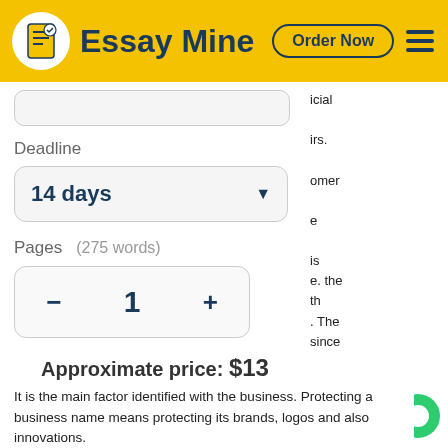Essay Mine  Order Now
Deadline
14 days
Pages  (275 words)
1
Approximate price: $13
Continue to order
It is the main factor identified with the business. Protecting a business name means protecting its brands, logos and also innovations.